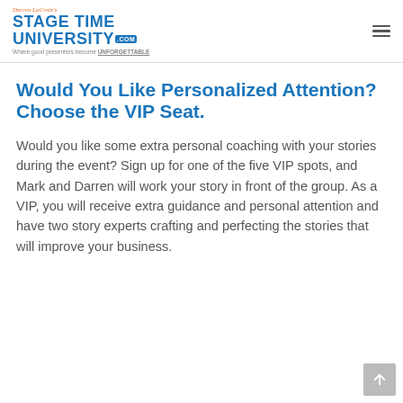Darren LaCroix's Stage Time University .com — Where good presenters become UNFORGETTABLE
Would You Like Personalized Attention? Choose the VIP Seat.
Would you like some extra personal coaching with your stories during the event? Sign up for one of the five VIP spots, and Mark and Darren will work your story in front of the group. As a VIP, you will receive extra guidance and personal attention and have two story experts crafting and perfecting the stories that will improve your business.